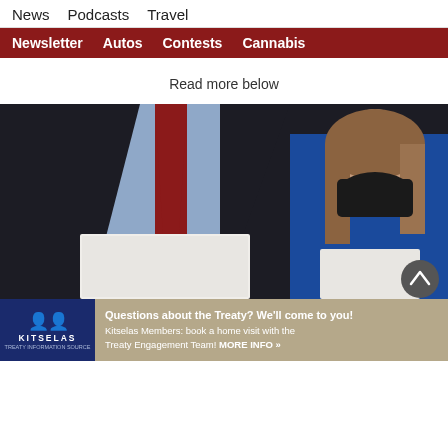News  Podcasts  Travel
Newsletter  Autos  Contests  Cannabis
Read more below
[Figure (photo): Two people in a hallway or corridor: a man in a dark suit with a red tie holding white papers in the foreground, and a woman in a blue jacket wearing a black face mask holding documents in the background.]
[Figure (infographic): Kitselas advertisement banner: 'Questions about the Treaty? We'll come to you! Kitselas Members: book a home visit with the Treaty Engagement Team! MORE INFO »' with Kitselas logo on dark blue background.]